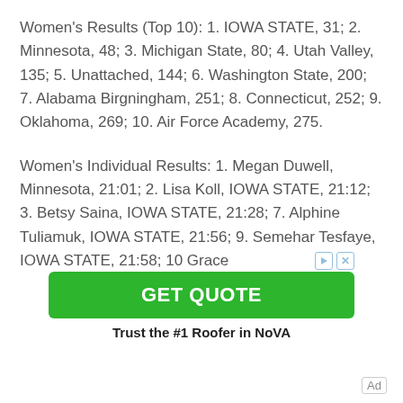Women's Results (Top 10): 1. IOWA STATE, 31; 2. Minnesota, 48; 3. Michigan State, 80; 4. Utah Valley, 135; 5. Unattached, 144; 6. Washington State, 200; 7. Alabama Birgningham, 251; 8. Connecticut, 252; 9. Oklahoma, 269; 10. Air Force Academy, 275.
Women's Individual Results: 1. Megan Duwell, Minnesota, 21:01; 2. Lisa Koll, IOWA STATE, 21:12; 3. Betsy Saina, IOWA STATE, 21:28; 7. Alphine Tuliamuk, IOWA STATE, 21:56; 9. Semehar Tesfaye, IOWA STATE, 21:58; 10 Grace
[Figure (other): Green GET QUOTE advertisement button with play and close icons above, and 'Trust the #1 Roofer in NoVA' text below]